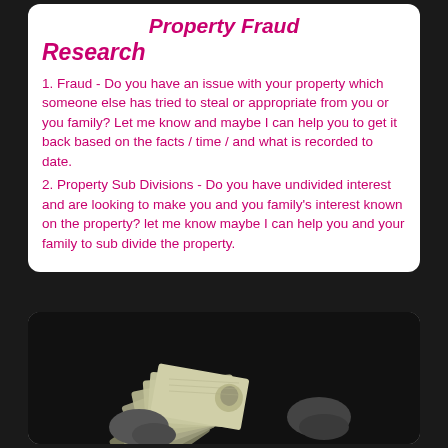Property Fraud Research
1. Fraud - Do you have an issue with your property which someone else has tried to steal or appropriate from you or you family? Let me know and maybe I can help you to get it back based on the facts / time / and what is recorded to date.
2. Property Sub Divisions - Do you have undivided interest and are looking to make you and you family's interest known on the property? let me know maybe I can help you and your family to sub divide the property.
[Figure (photo): Black and white photo of hands holding a large fan of $100 US dollar bills]